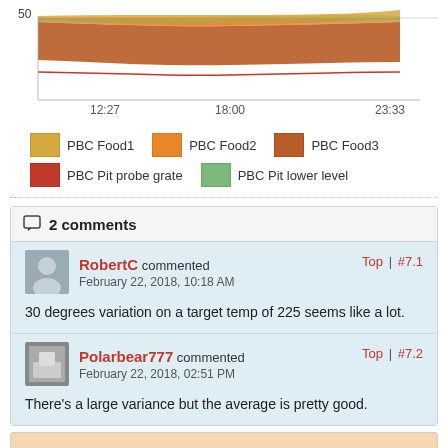[Figure (area-chart): Area chart showing PBC Food1, Food2, Food3 temperature layers with PBC Pit probe grate and PBC Pit lower level lines over time. Y-axis shows value 50.]
PBC Food1  PBC Food2  PBC Food3  PBC Pit probe grate  PBC Pit lower level
2 comments
RobertC commented
February 22, 2018, 10:18 AM
Top | #7.1
30 degrees variation on a target temp of 225 seems like a lot.
Polarbear777 commented
February 22, 2018, 02:51 PM
Top | #7.2
There's a large variance but the average is pretty good.